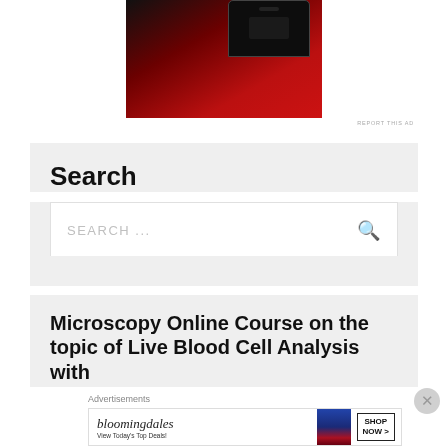[Figure (photo): Partial view of a red smartphone on a red background, top portion of an advertisement]
REPORT THIS AD
Search
SEARCH ...
Microscopy Online Course on the topic of Live Blood Cell Analysis with
Advertisements
[Figure (photo): Bloomingdales advertisement banner: bloomingdales logo, 'View Today's Top Deals!', woman in hat, SHOP NOW button]